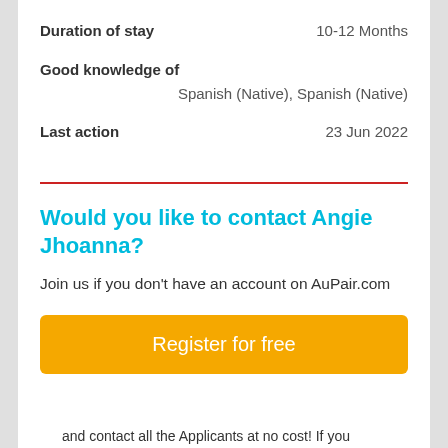Duration of stay    10-12 Months
Good knowledge of
Spanish (Native), Spanish (Native)
Last action    23 Jun 2022
Would you like to contact Angie Jhoanna?
Join us if you don't have an account on AuPair.com
Register for free
and contact all the Applicants at no cost! If you